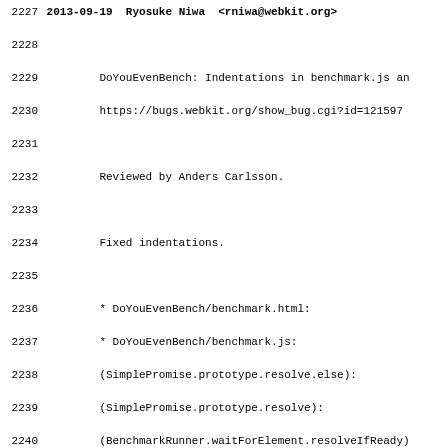Source code log/changelog excerpt, lines 2227-2259, showing git-style commit log entries for WebKit DoYouEvenBench benchmark.